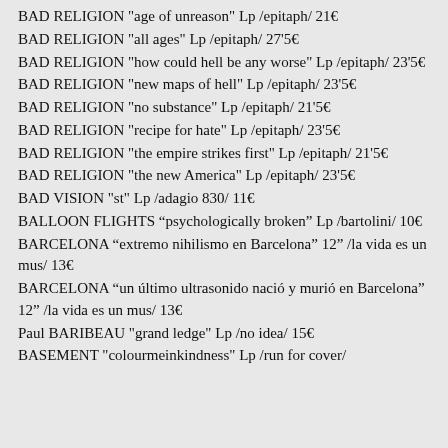BAD RELIGION "age of unreason" Lp /epitaph/ 21€
BAD RELIGION "all ages" Lp /epitaph/ 27'5€
BAD RELIGION "how could hell be any worse" Lp /epitaph/ 23'5€
BAD RELIGION "new maps of hell" Lp /epitaph/ 23'5€
BAD RELIGION "no substance" Lp /epitaph/ 21'5€
BAD RELIGION "recipe for hate" Lp /epitaph/ 23'5€
BAD RELIGION "the empire strikes first" Lp /epitaph/ 21'5€
BAD RELIGION "the new America" Lp /epitaph/ 23'5€
BAD VISION "st" Lp /adagio 830/ 11€
BALLOON FLIGHTS “psychologically broken” Lp /bartolini/ 10€
BARCELONA “extremo nihilismo en Barcelona” 12” /la vida es un mus/ 13€
BARCELONA “un último ultrasonido nació y murió en Barcelona” 12” /la vida es un mus/ 13€
Paul BARIBEAU "grand ledge" Lp /no idea/ 15€
BASEMENT "colourmeinkindness" Lp /run for cover/